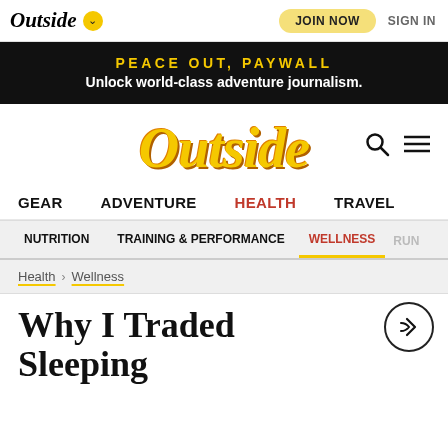Outside  JOIN NOW  SIGN IN
PEACE OUT, PAYWALL
Unlock world-class adventure journalism.
[Figure (logo): Outside magazine logo in large yellow italic serif font with search and menu icons]
GEAR  ADVENTURE  HEALTH  TRAVEL
NUTRITION  TRAINING & PERFORMANCE  WELLNESS  RUN
Health > Wellness
Why I Traded Sleeping